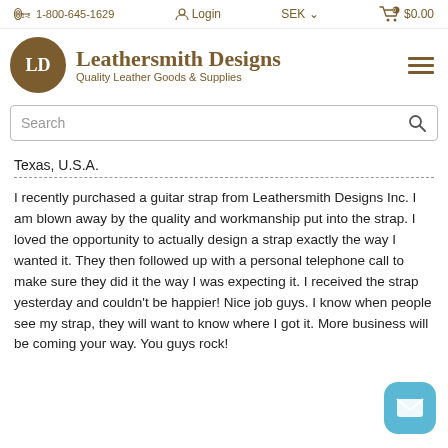1-800-645-1629  Login  SEK  $0.00
[Figure (logo): Leathersmith Designs logo — circular brown badge with 'LD' initials]
Leathersmith Designs
Quality Leather Goods & Supplies
Search
Texas, U.S.A.
I recently purchased a guitar strap from Leathersmith Designs Inc. I am blown away by the quality and workmanship put into the strap. I loved the opportunity to actually design a strap exactly the way I wanted it. They then followed up with a personal telephone call to make sure they did it the way I was expecting it. I received the strap yesterday and couldn't be happier! Nice job guys. I know when people see my strap, they will want to know where I got it. More business will be coming your way. You guys rock!